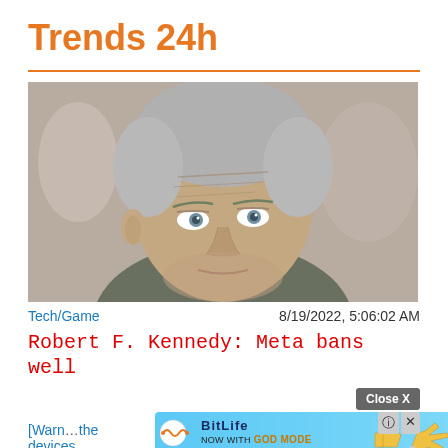Trends 24h
[Figure (photo): Close-up photo of Robert F. Kennedy Jr., an older man with grey hair and blue eyes looking sideways, blurred background]
Tech/Game
8/19/2022, 5:06:02 AM
Robert F. Kennedy: Meta bans well
[Warning about the devices]
[Figure (other): BitLife advertisement banner with GOD MODE promotion, 'Close X' button, help and close icons]